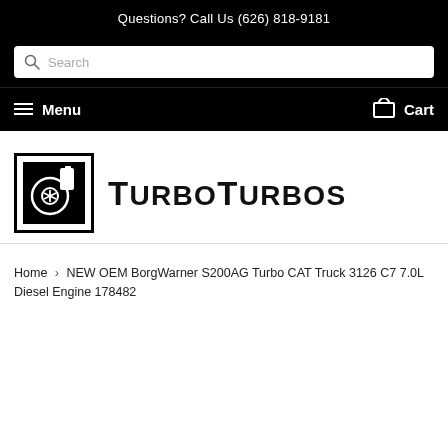Questions? Call Us (626) 818-9181
[Figure (screenshot): Search bar with magnifying glass icon and placeholder text 'Search']
Menu  Cart
[Figure (logo): TurboTurbos logo: black square icon with turbo/compressor wheel graphic and asterisk, beside bold uppercase text TURBOTURBOS]
Home › NEW OEM BorgWarner S200AG Turbo CAT Truck 3126 C7 7.0L Diesel Engine 178482